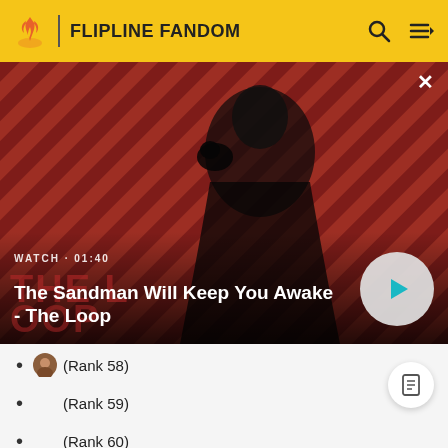FLIPLINE FANDOM
[Figure (screenshot): Video thumbnail showing a dark-cloaked figure with a raven on shoulder against red diagonal striped background. Title: The Sandman Will Keep You Awake - The Loop. Watch duration: 01:40. Play button visible.]
(Rank 58)
(Rank 59)
(Rank 60)
(Rank 61)
(Rank 62)